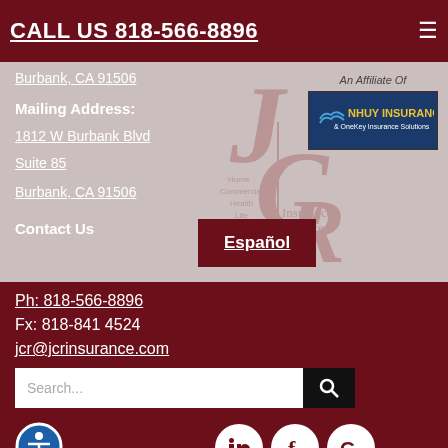CALL US 818-566-8896
Burbank, CA 91506
Mailing Address:
1812 W Burbank Blvd
Suite 85
Burbank, CA 91506
Contact Us
[Figure (logo): JCR Insurance Services logo with stylized letters]
[Figure (logo): NHUY Insurance & OneKey Insurance Solutions logo, An Affiliate Of]
Español
Ph: 818-566-8896
Fx: 818-841 4524
jcr@jcrinsurance.com
Search...
[Figure (other): Accessibility icon - person in circle]
[Figure (other): Social media icons: LinkedIn (in), Facebook (f), Google (G)]